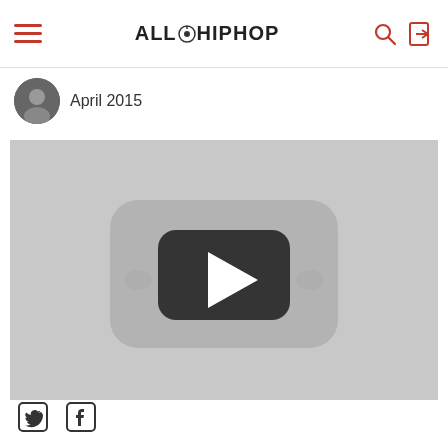AllHipHop
April 2015
[Figure (screenshot): Video player thumbnail showing a YouTube-style play button on a grey background]
[Figure (other): Social media icons: Twitter bird and Facebook f]